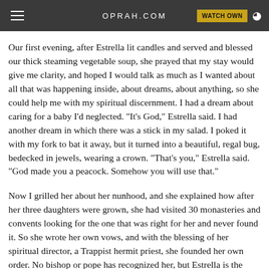OPRAH.COM  WATCH OWN
Our first evening, after Estrella lit candles and served and blessed our thick steaming vegetable soup, she prayed that my stay would give me clarity, and hoped I would talk as much as I wanted about all that was happening inside, about dreams, about anything, so she could help me with my spiritual discernment. I had a dream about caring for a baby I'd neglected. "It's God," Estrella said. I had another dream in which there was a stick in my salad. I poked it with my fork to bat it away, but it turned into a beautiful, regal bug, bedecked in jewels, wearing a crown. "That's you," Estrella said. "God made you a peacock. Somehow you will use that."
Now I grilled her about her nunhood, and she explained how after her three daughters were grown, she had visited 30 monasteries and convents looking for the one that was right for her and never found it. So she wrote her own vows, and with the blessing of her spiritual director, a Trappist hermit priest, she founded her own order. No bishop or pope has recognized her, but Estrella is the holiest person I know. Her altar is lit by candles that are never extinguished, and lined with pictures of those who have asked for her prayers. The phone rang with prayer